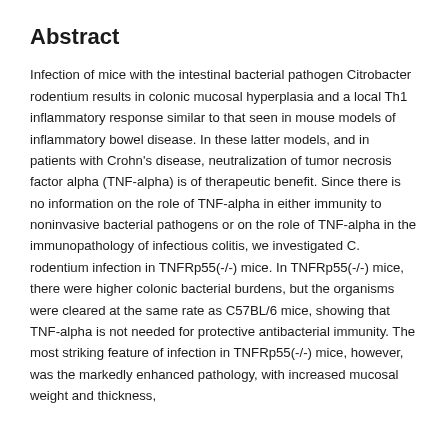Abstract
Infection of mice with the intestinal bacterial pathogen Citrobacter rodentium results in colonic mucosal hyperplasia and a local Th1 inflammatory response similar to that seen in mouse models of inflammatory bowel disease. In these latter models, and in patients with Crohn's disease, neutralization of tumor necrosis factor alpha (TNF-alpha) is of therapeutic benefit. Since there is no information on the role of TNF-alpha in either immunity to noninvasive bacterial pathogens or on the role of TNF-alpha in the immunopathology of infectious colitis, we investigated C. rodentium infection in TNFRp55(-/-) mice. In TNFRp55(-/-) mice, there were higher colonic bacterial burdens, but the organisms were cleared at the same rate as C57BL/6 mice, showing that TNF-alpha is not needed for protective antibacterial immunity. The most striking feature of infection in TNFRp55(-/-) mice, however, was the markedly enhanced pathology, with increased mucosal weight and thickness,